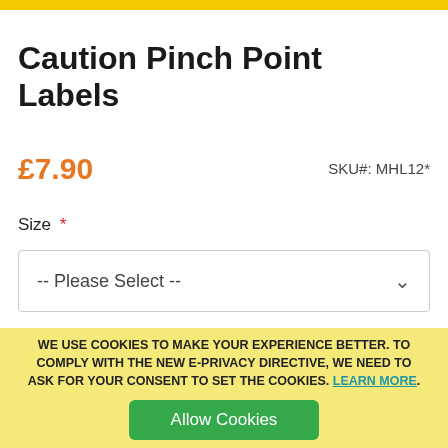Caution Pinch Point Labels
£7.90
SKU#: MHL12*
Size *
-- Please Select --
WE USE COOKIES TO MAKE YOUR EXPERIENCE BETTER. TO COMPLY WITH THE NEW E-PRIVACY DIRECTIVE, WE NEED TO ASK FOR YOUR CONSENT TO SET THE COOKIES. LEARN MORE.
Allow Cookies